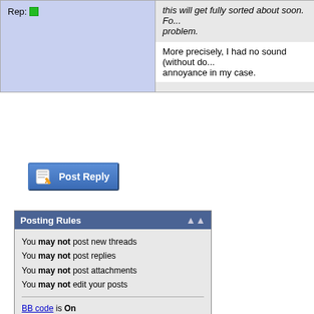Rep: [green icon]
this will get fully sorted about soon. Fo... problem.
More precisely, I had no sound (without do... annoyance in my case.
[Figure (other): Post Reply button with pencil/paper icon]
| Posting Rules |  |
| --- | --- |
| You may not post new threads |  |
| You may not post replies |  |
| You may not post attachments |  |
| You may not edit your posts |  |
| BB code is On |  |
| Smilies are On |  |
| [IMG] code is Off |  |
| HTML code is Off |  |